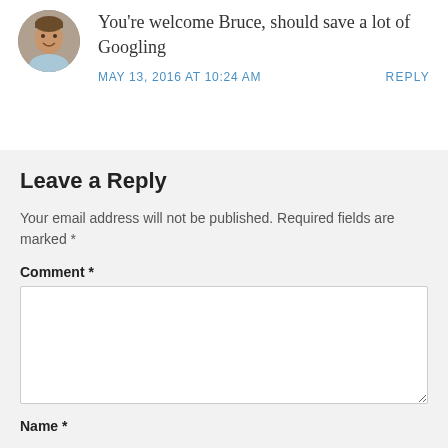[Figure (photo): Circular avatar photo of a man smiling, wearing a light blue shirt]
You're welcome Bruce, should save a lot of Googling
MAY 13, 2016 AT 10:24 AM    REPLY
Leave a Reply
Your email address will not be published. Required fields are marked *
Comment *
Name *